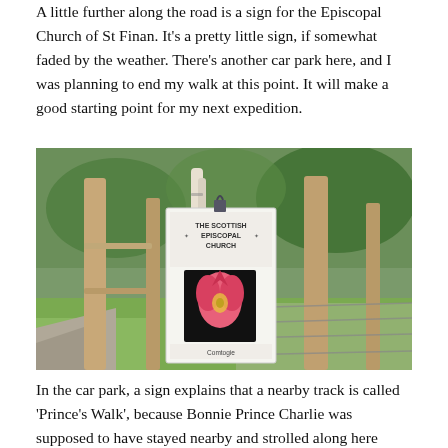A little further along the road is a sign for the Episcopal Church of St Finan. It's a pretty little sign, if somewhat faded by the weather. There's another car park here, and I was planning to end my walk at this point. It will make a good starting point for my next expedition.
[Figure (photo): Photo of a Scottish Episcopal Church sign mounted on wooden fence posts in a wooded outdoor setting. The sign shows the Scottish Episcopal Church logo — a pink/rose heart-shaped flame design on a black background — along with text that reads 'THE SCOTTISH EPISCOPAL CHURCH'. The sign appears weathered. Behind it are birch trees, green foliage, and a wire/wooden fence gate. A gravel path is visible to the left.]
In the car park, a sign explains that a nearby track is called 'Prince's Walk', because Bonnie Prince Charlie was supposed to have stayed nearby and strolled along here